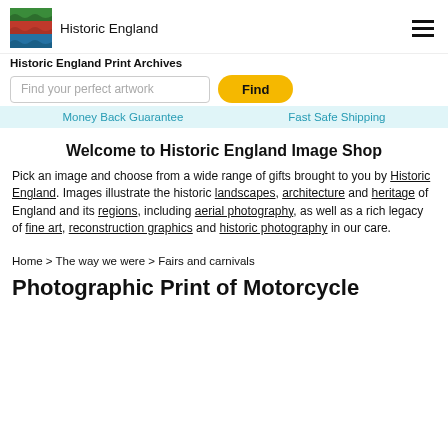Historic England
Historic England Print Archives
Find your perfect artwork
Money Back Guarantee   Fast Safe Shipping
Welcome to Historic England Image Shop
Pick an image and choose from a wide range of gifts brought to you by Historic England. Images illustrate the historic landscapes, architecture and heritage of England and its regions, including aerial photography, as well as a rich legacy of fine art, reconstruction graphics and historic photography in our care.
Home > The way we were > Fairs and carnivals
Photographic Print of Motorcycle